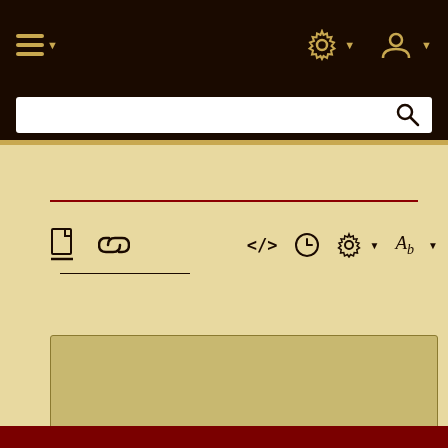[Figure (screenshot): Web application interface with dark brown navigation bar containing hamburger menu icon with dropdown arrow on the left, and gear/settings icon with dropdown and user/profile icon with dropdown on the right. Below the nav bar is a search input with magnifying glass icon on a dark background. A yellow/gold accent strip separates the header from the content area. The content area has a parchment/cream background with a dark red horizontal line, a toolbar row with document icon, link icon on the left and code brackets, clock, gear dropdown, and font/text style dropdown on the right. Below the toolbar is a darker tan/khaki content panel with two short horizontal lines in the lower right area. A dark red bar appears at the very bottom of the page.]